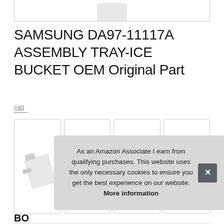[Figure (photo): Partial view of a white product image at top of page, cropped]
SAMSUNG DA97-11117A ASSEMBLY TRAY-ICE BUCKET OEM Original Part
#ad
[Figure (photo): Four thumbnail product images of the Samsung DA97-11117A ice bucket assembly showing different angles: side angle view, front rectangular tray view, ice column view, narrow side view]
As an Amazon Associate I earn from qualifying purchases. This website uses the only necessary cookies to ensure you get the best experience on our website. More information
BO